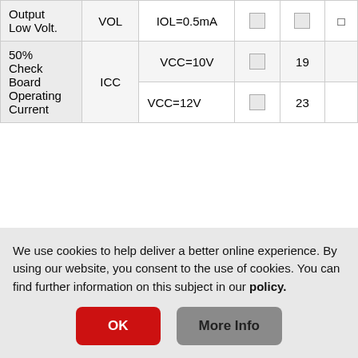|  |  |  | □ | □ | □ |
| --- | --- | --- | --- | --- | --- |
| Output Low Volt. | VOL | IOL=0.5mA | □ | □ | □ |
| 50% Check Board Operating Current | ICC | VCC=10V | □ | 19 |  |
| 50% Check Board Operating Current | ICC | VCC=12V | □ | 23 |  |
FPC 규격:
| 규격 | FPC Length | PIN |  |
| --- | --- | --- | --- |
We use cookies to help deliver a better online experience. By using our website, you consent to the use of cookies. You can find further information on this subject in our policy.